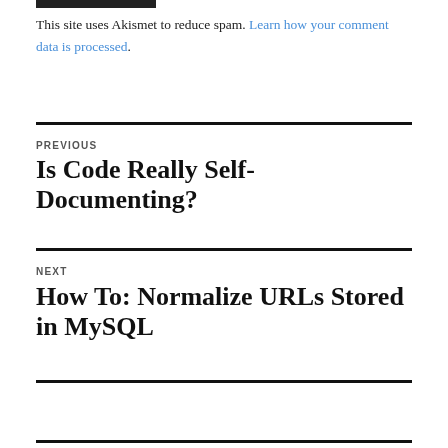This site uses Akismet to reduce spam. Learn how your comment data is processed.
PREVIOUS
Is Code Really Self-Documenting?
NEXT
How To: Normalize URLs Stored in MySQL